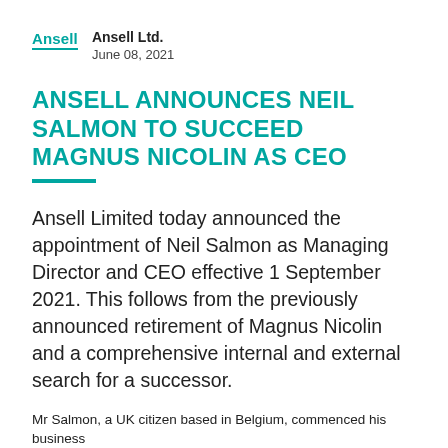Ansell Ltd.
June 08, 2021
ANSELL ANNOUNCES NEIL SALMON TO SUCCEED MAGNUS NICOLIN AS CEO
Ansell Limited today announced the appointment of Neil Salmon as Managing Director and CEO effective 1 September 2021. This follows from the previously announced retirement of Magnus Nicolin and a comprehensive internal and external search for a successor.
Mr Salmon, a UK citizen based in Belgium, commenced his business